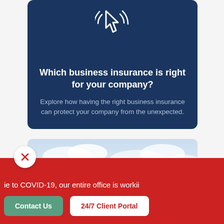[Figure (illustration): White cursor/click icon on dark blue background at top of card]
Which business insurance is right for your company?
Explore how having the right business insurance can protect your company from the unexpected.
[Figure (photo): Modern white office building with trees in foreground and cloudy sky]
ie to COVID-19, our entire office is workii
Contact Us
24/7 Client Portal